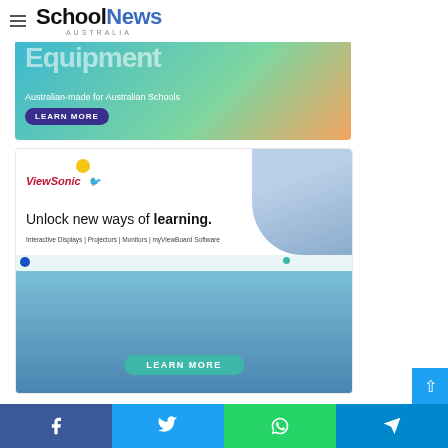SchoolNews AUSTRALIA
[Figure (photo): Advertisement banner: Australian-made for Australian Schools with a LEARN MORE button, teal/green/orange gradient background]
[Figure (photo): ViewSonic advertisement: Unlock new ways of learning. Interactive Displays | Projectors | Monitors | myViewBoard Software. Shows students on video call and a teacher. LEARN MORE button.]
Social sharing bar: Facebook, Twitter, WhatsApp, Telegram